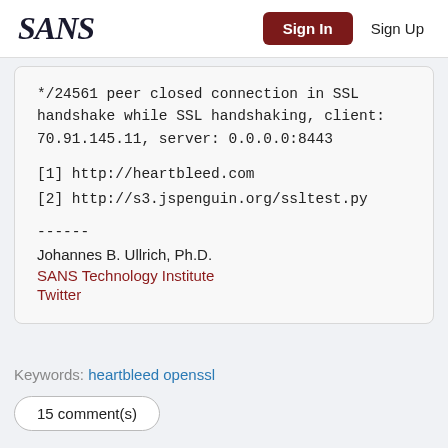SANS   Sign In   Sign Up
*/24561 peer closed connection in SSL handshake while SSL handshaking, client: 70.91.145.11, server: 0.0.0.0:8443

[1] http://heartbleed.com
[2] http://s3.jspenguin.org/ssltest.py

------
Johannes B. Ullrich, Ph.D.
SANS Technology Institute
Twitter
Keywords: heartbleed openssl
15 comment(s)